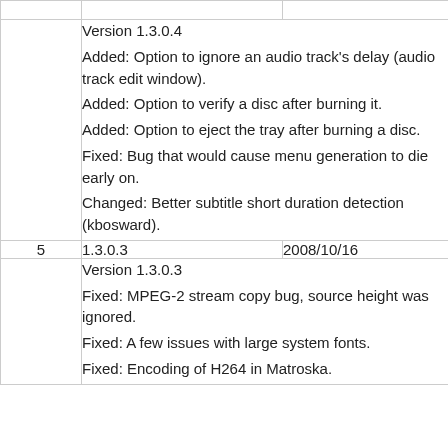| # | Version | Date |
| --- | --- | --- |
|  | Version 1.3.0.4
Added: Option to ignore an audio track's delay (audio track edit window).
Added: Option to verify a disc after burning it.
Added: Option to eject the tray after burning a disc.
Fixed: Bug that would cause menu generation to die early on.
Changed: Better subtitle short duration detection (kbosward). |  |
| 5 | 1.3.0.3 | 2008/10/16 |
|  | Version 1.3.0.3
Fixed: MPEG-2 stream copy bug, source height was ignored.
Fixed: A few issues with large system fonts.
Fixed: Encoding of H264 in Matroska. |  |